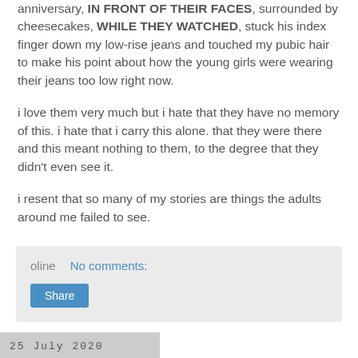anniversary, IN FRONT OF THEIR FACES, surrounded by cheesecakes, WHILE THEY WATCHED, stuck his index finger down my low-rise jeans and touched my pubic hair to make his point about how the young girls were wearing their jeans too low right now.
i love them very much but i hate that they have no memory of this. i hate that i carry this alone. that they were there and this meant nothing to them, to the degree that they didn't even see it.
i resent that so many of my stories are things the adults around me failed to see.
oline   No comments:
Share
25 July 2020